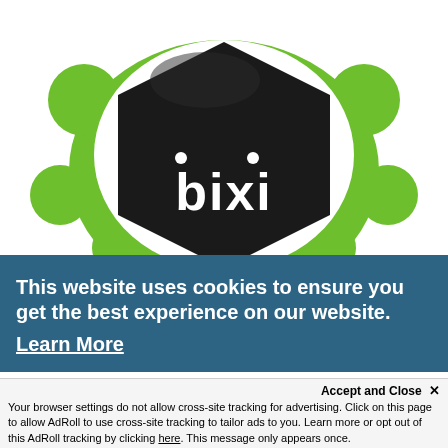[Figure (photo): Close-up top view of a Bixi gesture controller device — a green and black rounded hexagonal smart home device with the word 'bixi' written in white on the black center panel, with green rubber bumps around the edges]
This website uses cookies to ensure you get the best experience on our website.
Learn More
an be
hts
Accept and Close ✕
Your browser settings do not allow cross-site tracking for advertising. Click on this page to allow AdRoll to use cross-site tracking to tailor ads to you. Learn more or opt out of this AdRoll tracking by clicking here. This message only appears once.